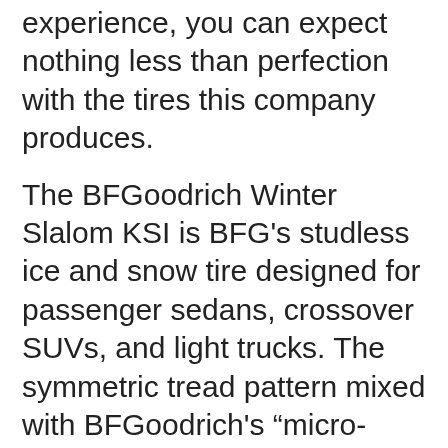experience, you can expect nothing less than perfection with the tires this company produces.
The BFGoodrich Winter Slalom KSI is BFG's studless ice and snow tire designed for passenger sedans, crossover SUVs, and light trucks. The symmetric tread pattern mixed with BFGoodrich's “micro-pore” rubber technology means this tire will keep you steering in the right direction even when navigating the iciest roads. The BFGoodrich Winter Slalom KSI also incorporates a vast array of micro sipes and larger tread grooves to expel water,